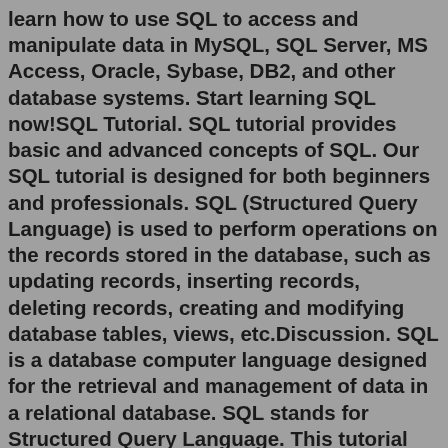learn how to use SQL to access and manipulate data in MySQL, SQL Server, MS Access, Oracle, Sybase, DB2, and other database systems. Start learning SQL now!SQL Tutorial. SQL tutorial provides basic and advanced concepts of SQL. Our SQL tutorial is designed for both beginners and professionals. SQL (Structured Query Language) is used to perform operations on the records stored in the database, such as updating records, inserting records, deleting records, creating and modifying database tables, views, etc.Discussion. SQL is a database computer language designed for the retrieval and management of data in a relational database. SQL stands for Structured Query Language. This tutorial will give you a quick start to SQL. It covers most of the topics required for a basic understanding of SQL and to get a feel of how it works.sql w3schools - Free download as PDF File (.pdf), Text File (.txt) or read online for free. sql tutorial from w3schoolsMySQL is a relational database management system (RDBMS). MySQL is fast, reliable, and flexible and easy to use